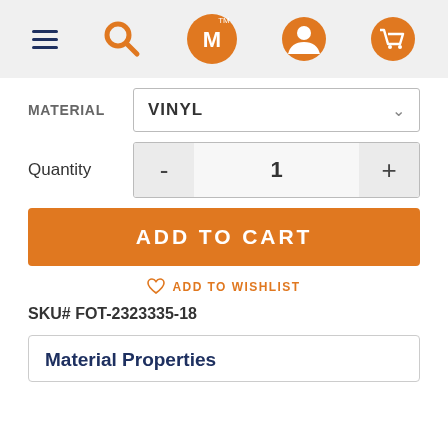Navigation bar with hamburger menu, search, logo (WM), account, and cart icons
MATERIAL  VINYL
Quantity  -  1  +
ADD TO CART
♡ ADD TO WISHLIST
SKU# FOT-2323335-18
Material Properties